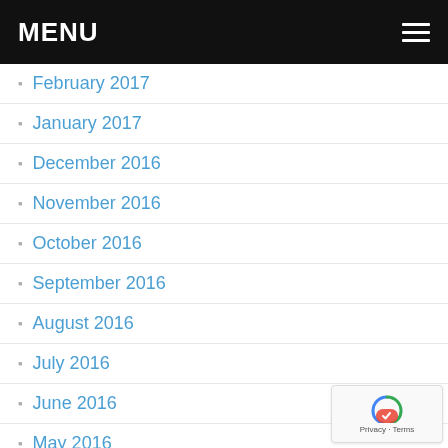MENU
February 2017
January 2017
December 2016
November 2016
October 2016
September 2016
August 2016
July 2016
June 2016
May 2016
April 2016
March 2016